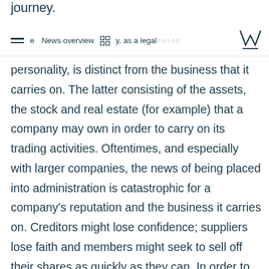e  News overview  y, as a legal
y, as a legal personality, is distinct from the business that it carries on. The latter consisting of the assets, the stock and real estate (for example) that a company may own in order to carry on its trading activities. Oftentimes, and especially with larger companies, the news of being placed into administration is catastrophic for a company's reputation and the business it carries on. Creditors might lose confidence; suppliers lose faith and members might seek to sell off their shares as quickly as they can. In order to minimise the disruption, the company's board may seek to appoint administrators while already having formulated a plan for how the